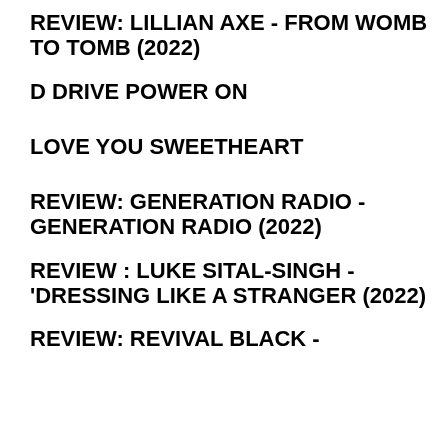REVIEW: LILLIAN AXE - FROM WOMB TO TOMB (2022)
D DRIVE POWER ON
LOVE YOU SWEETHEART
REVIEW: GENERATION RADIO - GENERATION RADIO (2022)
REVIEW : LUKE SITAL-SINGH - 'DRESSING LIKE A STRANGER (2022)
REVIEW: REVIVAL BLACK -